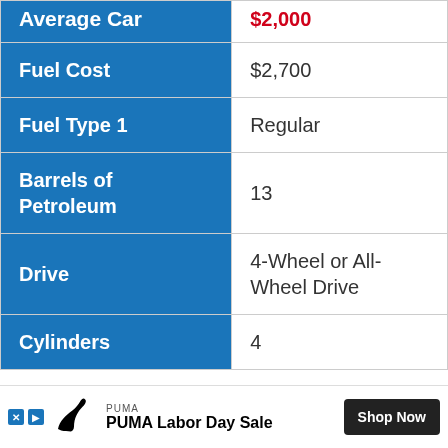| Label | Value |
| --- | --- |
| Average Car | $2,000 |
| Fuel Cost | $2,700 |
| Fuel Type 1 | Regular |
| Barrels of Petroleum | 13 |
| Drive | 4-Wheel or All-Wheel Drive |
| Cylinders | 4 |
[Figure (other): PUMA Labor Day Sale advertisement banner with PUMA logo and Shop Now button]